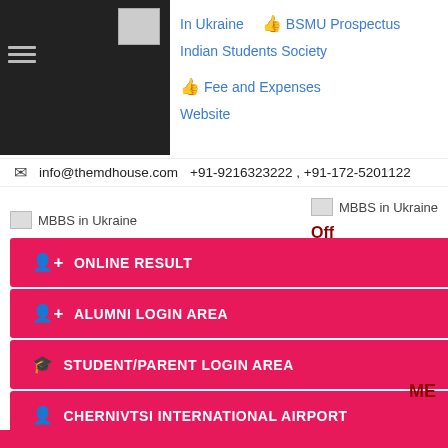In Ukraine  BSMU Prospectus  Indian Students Society  Fee and Expenses  Website
info@themdhouse.com  +91-9216323222 , +91-172-5201122
[Figure (screenshot): MBBS in Ukraine image placeholder (left)]
[Figure (screenshot): MBBS in Ukraine image placeholder (right) with 'Off' text in dark red]
[Figure (infographic): Four pink buttons stacked: ONLINE RESULT, ALUMNI LOGIN AREA, STUDENT/PARENT LOGIN AREA, CHERNIVTSI INTERNATIONAL AIRPORT]
ME